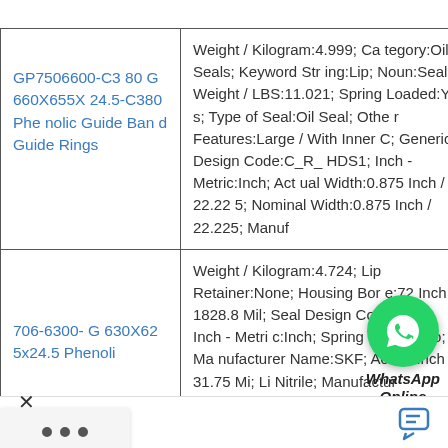| Product Name | Description |
| --- | --- |
| GP7506600-C380 G 660X655X24.5-C380 Phenolic Guide Band Guide Rings | Weight / Kilogram:4.999; Category:Oil Seals; Keyword String:Lip; Noun:Seal; Weight / LBS:11.021; Spring Loaded:Yes; Type of Seal:Oil Seal; Other Features:Large / With Inner C; Generic Design Code:C_R_HDS1; Inch - Metric:Inch; Actual Width:0.875 Inch / 22.225; Nominal Width:0.875 Inch / 22.225; Manuf |
| ...706-6300-G 630X625x24.5 Phenoli... | Weight / Kilogram:4.724; Lip Retainer:None; Housing Bore:72 Inch / 1828.8 Mil; Seal Design Code:CT1; Inch - Metric:Inch; Spring Loaded:No; Manufacturer Name:SKF; Actual Inch / 31.75 Mi; Li Nitrile; Manufactur mber:524373; Lo |
[Figure (other): WhatsApp Online popup bubble with green phone icon]
Chat now